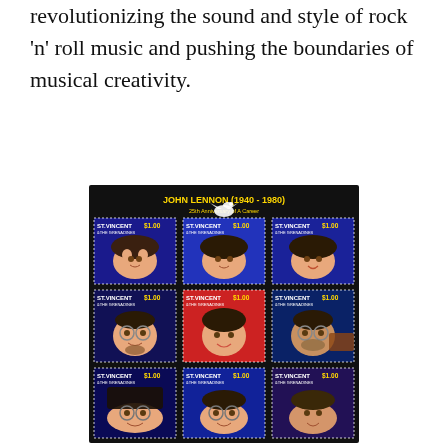revolutionizing the sound and style of rock 'n' roll music and pushing the boundaries of musical creativity.
[Figure (illustration): A sheet of 9 commemorative postage stamps from St. Vincent & The Grenadines featuring illustrated portraits of John Lennon (1940-1980), each stamp valued at $1.00. The sheet header reads 'JOHN LENNON (1940-1980)' with a dove illustration. The stamps show different portraits of John Lennon at various stages of his life and career, arranged in a 3x3 grid on a dark background.]